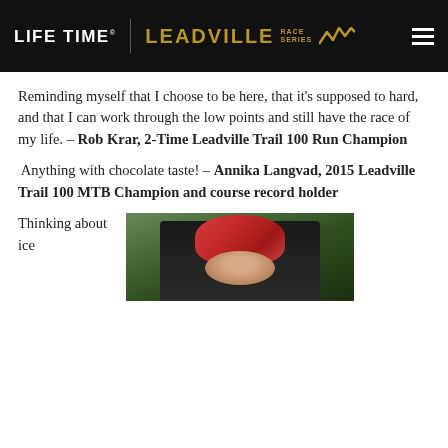LIFE TIME | LEADVILLE RACE SERIES
Reminding myself that I choose to be here, that it’s supposed to hard, and that I can work through the low points and still have the race of my life. – Rob Krar, 2-Time Leadville Trail 100 Run Champion
Anything with chocolate taste! – Annika Langvad, 2015 Leadville Trail 100 MTB Champion and course record holder
Thinking about ice
[Figure (photo): A cyclist wearing a pink/red helmet riding a mountain bike, photographed from the front, against a green outdoor background]